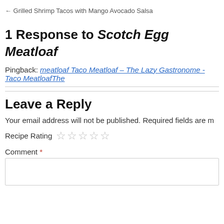← Grilled Shrimp Tacos with Mango Avocado Salsa
1 Response to Scotch Egg Meatloaf
Pingback: meatloaf Taco Meatloaf – The Lazy Gastronome - Taco MeatloafThe…
Leave a Reply
Your email address will not be published. Required fields are m…
Recipe Rating ☆☆☆☆☆
Comment *